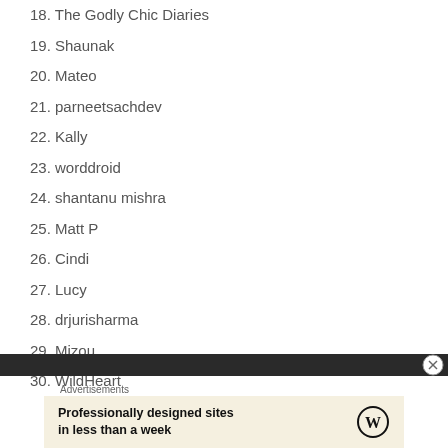18. The Godly Chic Diaries
19. Shaunak
20. Mateo
21. parneetsachdev
22. Kally
23. worddroid
24. shantanu mishra
25. Matt P
26. Cindi
27. Lucy
28. drjurisharma
29. Mizou
30. WildHeart
Advertisements
[Figure (other): WordPress advertisement: Professionally designed sites in less than a week]